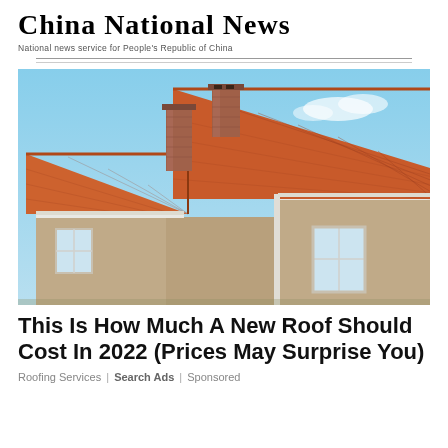China National News
National news service for People's Republic of China
[Figure (photo): Photo of a house with terracotta tile roof and two brick chimneys against a blue sky]
This Is How Much A New Roof Should Cost In 2022 (Prices May Surprise You)
Roofing Services | Search Ads | Sponsored